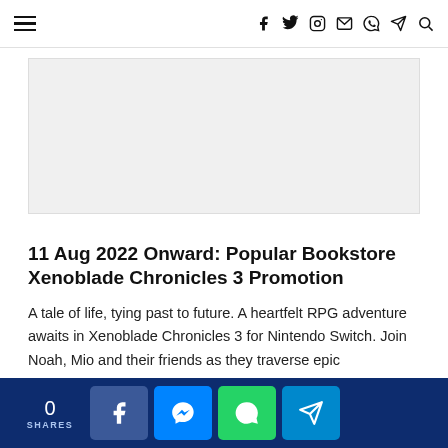Navigation bar with hamburger menu and social icons: f (Facebook), Twitter, Instagram, Email, WhatsApp, Telegram, Search
[Figure (other): Gray advertisement placeholder rectangle]
11 Aug 2022 Onward: Popular Bookstore Xenoblade Chronicles 3 Promotion
A tale of life, tying past to future. A heartfelt RPG adventure awaits in Xenoblade Chronicles 3 for Nintendo Switch. Join Noah, Mio and their friends as they traverse epic landscapes, battle ferocious creatures and fight to break the never-ending
0 SHARES | Share buttons: Facebook, Messenger, WhatsApp, Telegram